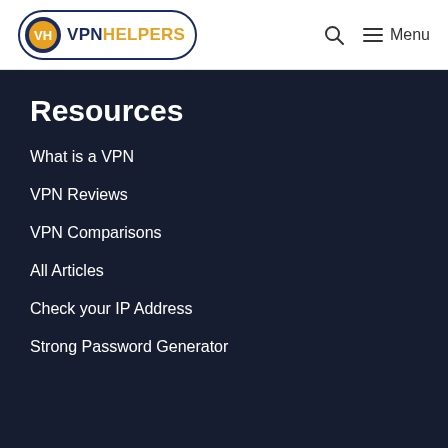[Figure (logo): VPN Helpers logo: circular icon with VH letters in yellow on dark blue background, with text VPNHELPERS in dark blue and orange, enclosed in a pill-shaped border]
VPN HELPERS — Search — Menu
Resources
What is a VPN
VPN Reviews
VPN Comparisons
All Articles
Check your IP Address
Strong Password Generator